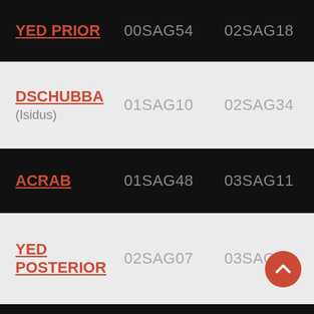| Name | Code1 | Code2 |
| --- | --- | --- |
| YED PRIOR | 00SAG54 | 02SAG18 |
| DSCHUBBA (Isidus) | 01SAG10 | 02SAG34 |
| ACRAB | 01SAG48 | 03SAG11 |
| YED POSTERIOR | 02SAG07 | 03SAG31 |
| JABBAH | 03SAG15 | 04SAG39 |
| MARFIK | 04SAG12 | 05SAG36 |